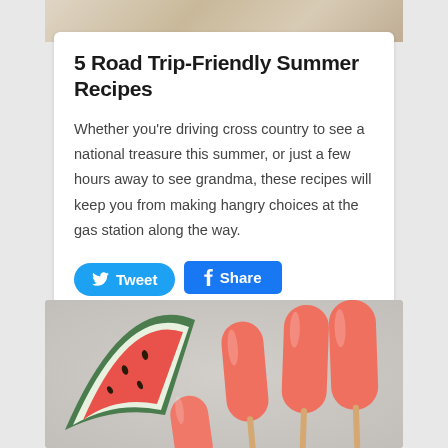[Figure (photo): Top partial photo showing a light wooden/food background, partially cropped at top of page]
5 Road Trip-Friendly Summer Recipes
Whether you’re driving cross country to see a national treasure this summer, or just a few hours away to see grandma, these recipes will keep you from making hangry choices at the gas station along the way.
[Figure (photo): Photo of watermelon slices and pink/orange popsicles on a light grey surface]
[Figure (screenshot): Tweet and Share social media buttons in blue]